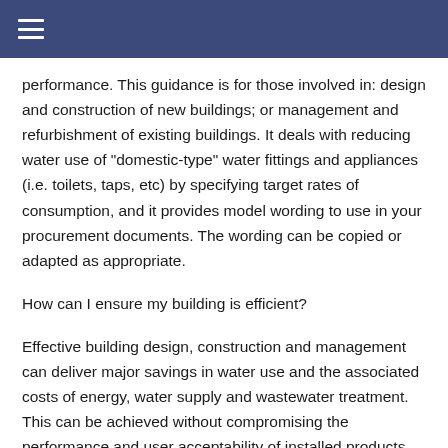≡
performance. This guidance is for those involved in: design and construction of new buildings; or management and refurbishment of existing buildings. It deals with reducing water use of "domestic-type" water fittings and appliances (i.e. toilets, taps, etc) by specifying target rates of consumption, and it provides model wording to use in your procurement documents. The wording can be copied or adapted as appropriate.
How can I ensure my building is efficient?
Effective building design, construction and management can deliver major savings in water use and the associated costs of energy, water supply and wastewater treatment. This can be achieved without compromising the performance and user acceptability of installed products.